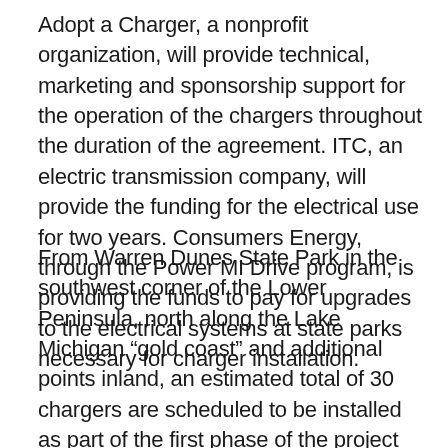Adopt a Charger, a nonprofit organization, will provide technical, marketing and sponsorship support for the operation of the chargers throughout the duration of the agreement. ITC, an electric transmission company, will provide the funding for the electrical use for two years. Consumers Energy, through the Power MI Drive program, is providing the funds to pay for upgrades to the electrical systems at state parks necessary for charger installation.
From Warren Dunes State Park in the southwest corner of the Lower Peninsula, north along the Lake Michigan “gold coast” and additional points inland, an estimated total of 30 chargers are scheduled to be installed as part of the first phase of the project with the next installations beginning in summer and continuing through the year.